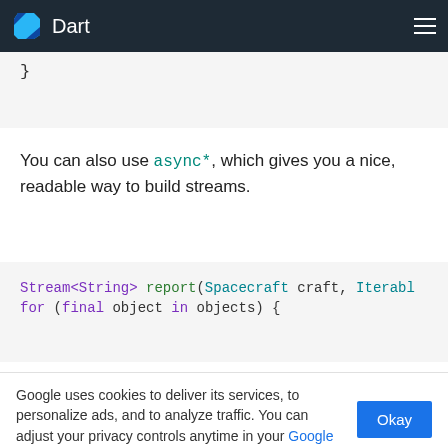Dart
[Figure (screenshot): Partial code block showing a closing brace character]
You can also use async*, which gives you a nice, readable way to build streams.
[Figure (screenshot): Code block showing: Stream<String> report(Spacecraft craft, Iterable... for (final object in objects) {]
Google uses cookies to deliver its services, to personalize ads, and to analyze traffic. You can adjust your privacy controls anytime in your Google settings. Learn more.